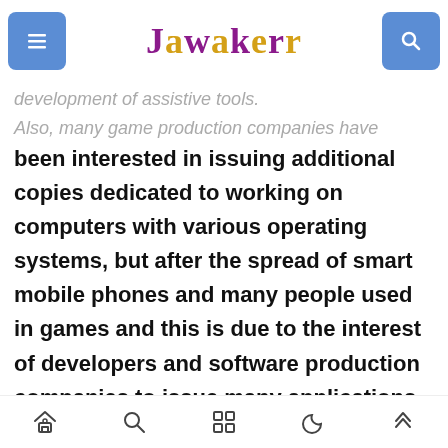Jawakerr
development of assistive tools.
Also, many game production companies have been interested in issuing additional copies dedicated to working on computers with various operating systems, but after the spread of smart mobile phones and many people used in games and this is due to the interest of developers and software production companies to issue many applications and games. New ideas attracted a huge number of fans, so the companies with famous games were interested in issuing
nav bar icons: home, search, grid, moon, up-arrow